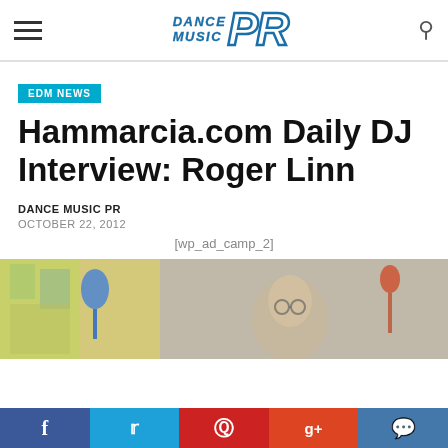Dance Music PR
EDM NEWS
Hammarcia.com Daily DJ Interview: Roger Linn
DANCE MUSIC PR
OCTOBER 22, 2012
[wp_ad_camp_2]
[Figure (photo): Photo/video still showing a person (Roger Linn) seated indoors with blurred background including a blue decorative object and colorful window, with a microphone visible]
f  t  p  g+  comment